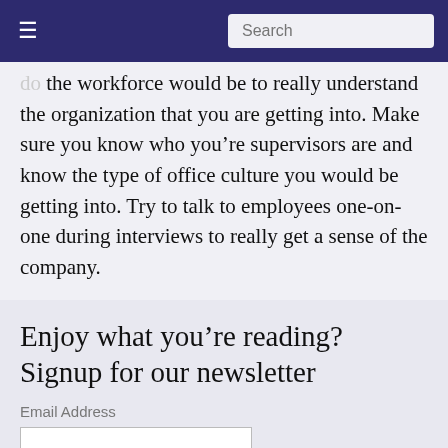Search
do ... the workforce would be to really understand the organization that you are getting into. Make sure you know who you’re supervisors are and know the type of office culture you would be getting into. Try to talk to employees one-on-one during interviews to really get a sense of the company.
Enjoy what you’re reading? Signup for our newsletter
Email Address
Sign up now